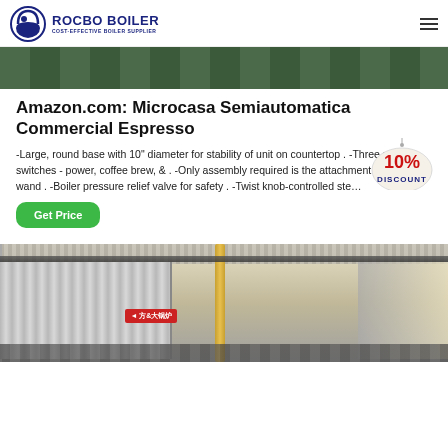ROCBO BOILER — COST-EFFECTIVE BOILER SUPPLIER
[Figure (photo): Top portion of a photo showing industrial or commercial equipment, partially cropped at top of page]
Amazon.com: Microcasa Semiautomatica Commercial Espresso
-Large, round base with 10" diameter for stability of unit on countertop . -Three red switches - power, coffee brew, & . -Only assembly required is the attachment of the steam wand . -Boiler pressure relief valve for safety . -Twist knob-controlled ste…
[Figure (infographic): 10% DISCOUNT badge/sticker in red and blue text on a hanging tag]
Get Price
[Figure (photo): Industrial boiler facility interior showing large silver insulated pipes/tanks with a yellow vertical pipe in center, red Chinese-language signage, and overhead structural beams]